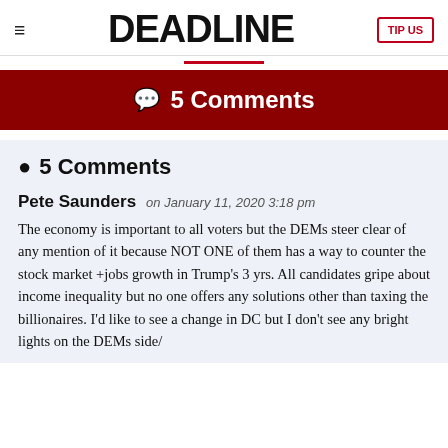DEADLINE
💬 5 Comments
💬 5 Comments
Pete Saunders on January 11, 2020 3:18 pm
The economy is important to all voters but the DEMs steer clear of any mention of it because NOT ONE of them has a way to counter the stock market +jobs growth in Trump's 3 yrs. All candidates gripe about income inequality but no one offers any solutions other than taxing the billionaires. I'd like to see a change in DC but I don't see any bright lights on the DEMs side/